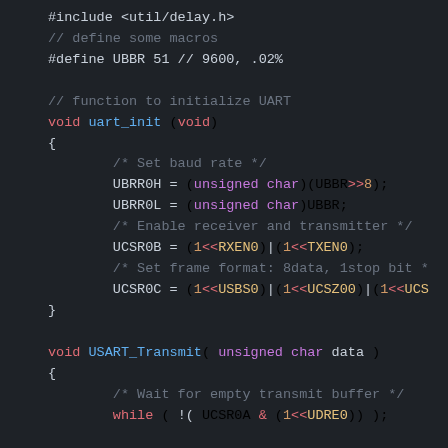[Figure (screenshot): Syntax-highlighted C source code for AVR UART initialization and USART transmit functions on a dark background. Shows #include, #define macros, void uart_init(void) and void USART_Transmit(unsigned char data) function stubs with register assignments and comments.]